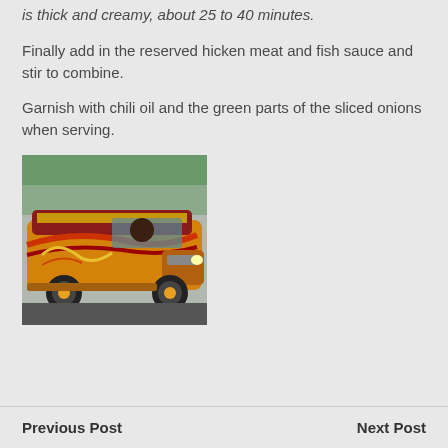is thick and creamy, about 25 to 40 minutes.
Finally add in the reserved hicken meat and fish sauce and stir to combine.
Garnish with chili oil and the green parts of the sliced onions when serving.
[Figure (photo): A colorful Filipino jeepney with orange, red, and gold decorative paint, photographed from the side while in motion on a street.]
Previous Post    Next Post